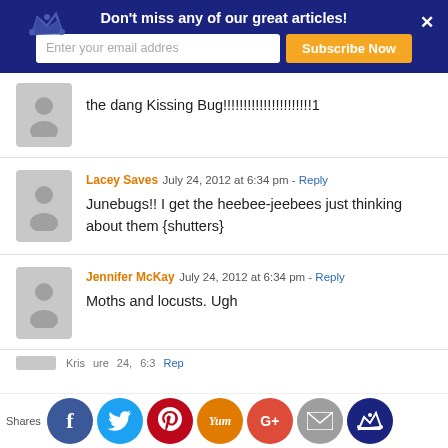Don't miss any of our great articles! Enter your email addres [Subscribe Now]
the dang Kissing Bug!!!!!!!!!!!!!!!!!!!!!!1
Lacey Saves  July 24, 2012 at 6:34 pm - Reply
Junebugs!! I get the heebee-jeebees just thinking about them {shutters}
Jennifer McKay  July 24, 2012 at 6:34 pm - Reply
Moths and locusts. Ugh
Shares [Facebook] [Twitter] [Pinterest] [Yum] [Google+] [Email] [Crown]